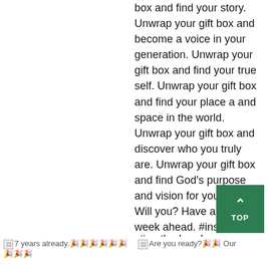box and find your story. Unwrap your gift box and become a voice in your generation. Unwrap your gift box and find your true self. Unwrap your gift box and find your place a and space in the world. Unwrap your gift box and discover who you truly are. Unwrap your gift box and find God's purpose and vision for your life. Will you? Have a beautiful week ahead. #insp… #motherhood
7 years already.🎉🎉🎉🎉🎉🎉🎉🎉🎉
Are you ready?🎉🎉 Our